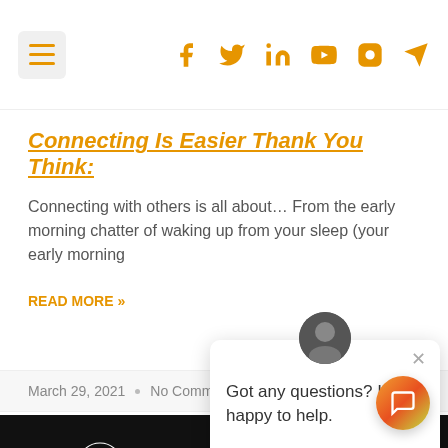Navigation bar with hamburger menu and social icons: Facebook, Twitter, LinkedIn, YouTube, Instagram, Send
Connecting Is Easier Thank You Think:
Connecting with others is all about… From the early morning chatter of waking up from your sleep (your early morning
READ MORE »
March 29, 2021  •  No Comments
[Figure (illustration): Black and white artwork showing crowd of illustrated faces and figures in a dense surrealist style]
Got any questions? I'm happy to help.